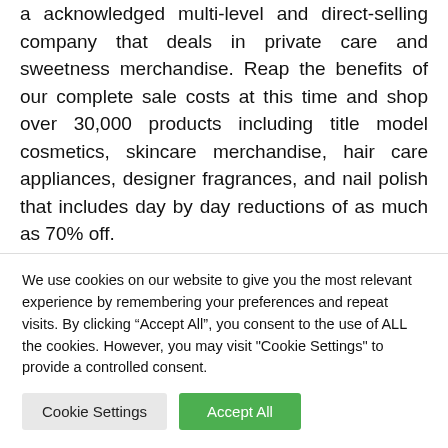a acknowledged multi-level and direct-selling company that deals in private care and sweetness merchandise. Reap the benefits of our complete sale costs at this time and shop over 30,000 products including title model cosmetics, skincare merchandise, hair care appliances, designer fragrances, and nail polish that includes day by day reductions of as much as 70% off.

And whenever you buy personal care products, meals
We use cookies on our website to give you the most relevant experience by remembering your preferences and repeat visits. By clicking “Accept All”, you consent to the use of ALL the cookies. However, you may visit "Cookie Settings" to provide a controlled consent.